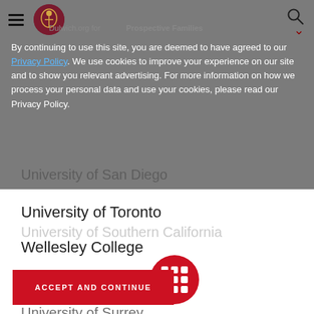Dulwich.org for Prospective Families
By continuing to use this site, you are deemed to have agreed to our Privacy Policy. We use cookies to improve your experience on our site and to show you relevant advertising. For more information on how we process your personal data and use your cookies, please read our Privacy Policy.
University of San Diego
University of Southern California
University of Surrey
University of Toronto
Wellesley College
Yale University